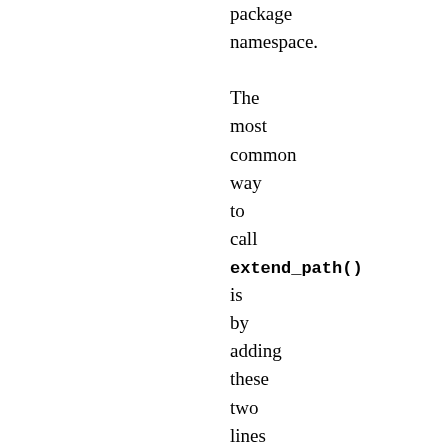package namespace.

The most common way to call extend_path() is by adding these two lines to the __init__.py inside the package:

e: